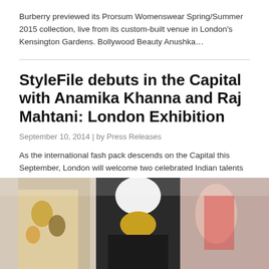Burberry previewed its Prorsum Womenswear Spring/Summer 2015 collection, live from its custom-built venue in London's Kensington Gardens. Bollywood Beauty Anushka…
StyleFile debuts in the Capital with Anamika Khanna and Raj Mahtani: London Exhibition
September 10, 2014 | by Press Releases
As the international fash pack descends on the Capital this September, London will welcome two celebrated Indian talents in the…
[Figure (photo): Fashion event photo showing women in stylish dresses at what appears to be a fashion exhibition or show]